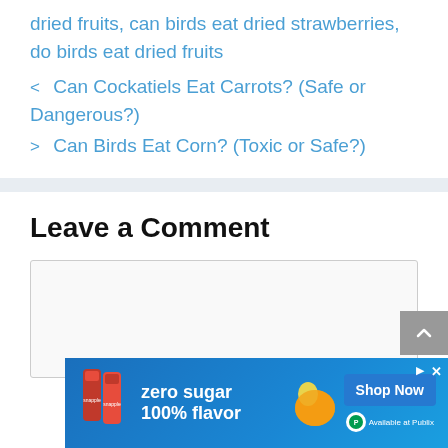dried fruits, can birds eat dried strawberries, do birds eat dried fruits
< Can Cockatiels Eat Carrots? (Safe or Dangerous?)
> Can Birds Eat Corn? (Toxic or Safe?)
Leave a Comment
[Figure (screenshot): Comment text area input box, empty]
[Figure (infographic): Advertisement banner: zero sugar 100% flavor Snapple ad with Shop Now button and Available at Publix badge]